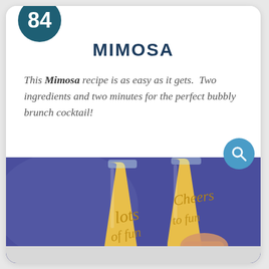MIMOSA
This Mimosa recipe is as easy as it gets. Two ingredients and two minutes for the perfect bubbly brunch cocktail!
[Figure (photo): Two stemless champagne flutes filled with orange mimosa cocktail against a blue/purple background, with script lettering on the glasses. A hand holds the glass on the right.]